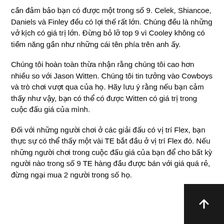cần đảm bảo bạn có được một trong số 9. Celek, Shiancoe, Daniels và Finley đều có lợi thế rất lớn. Chúng đều là những vở kịch có giá trị lớn. Đừng bỏ lỡ top 9 vì Cooley không có tiềm năng gần như những cái tên phía trên anh ấy.
Chúng tôi hoàn toàn thừa nhận rằng chúng tôi cao hơn nhiều so với Jason Witten. Chúng tôi tin tưởng vào Cowboys và trò chơi vượt qua của họ. Hãy lưu ý rằng nếu bạn cảm thấy như vậy, bạn có thể có được Witten có giá trị trong cuộc đấu giá của mình.
Đối với những người chơi ở các giải đấu có vị trí Flex, bạn thực sự có thể thấy một vài TE bắt đầu ở vị trí Flex đó. Nếu những người chơi trong cuộc đấu giá của bạn để cho bất kỳ người nào trong số 9 TE hàng đầu được bán với giá quá rẻ, đừng ngại mua 2 người trong số họ.